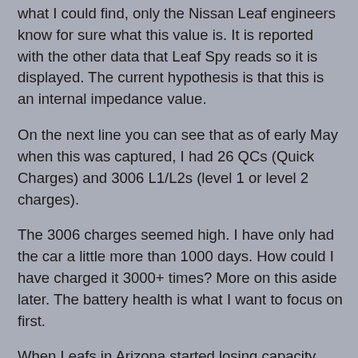what I could find, only the Nissan Leaf engineers know for sure what this value is. It is reported with the other data that Leaf Spy reads so it is displayed. The current hypothesis is that this is an internal impedance value.
On the next line you can see that as of early May when this was captured, I had 26 QCs (Quick Charges) and 3006 L1/L2s (level 1 or level 2 charges).
The 3006 charges seemed high. I have only had the car a little more than 1000 days. How could I have charged it 3000+ times? More on this aside later. The battery health is what I want to focus on first.
When Leafs in Arizona started losing capacity, this quickly became a major topic in the My Nissan Leaf forum and other EV discussion sites. Several Leaf owners reported their capacity data. This dataset along with information about the battery chemistry was used to create a battery aging model.
The battery aging model shows that degradation starts out quickly. As the batteries age, the rate of degradation slows.